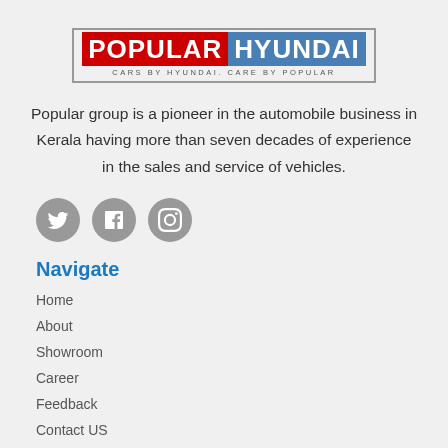[Figure (logo): Popular Hyundai logo with red 'POPULAR' text and blue 'HYUNDAI' text, tagline: CARS BY HYUNDAI. CARE BY POPULAR]
Popular group is a pioneer in the automobile business in Kerala having more than seven decades of experience in the sales and service of vehicles.
[Figure (illustration): Three circular social media icons (Twitter, Facebook, Instagram) in grey]
Navigate
Home
About
Showroom
Career
Feedback
Contact US
Book Now
Service Booking
Exchange